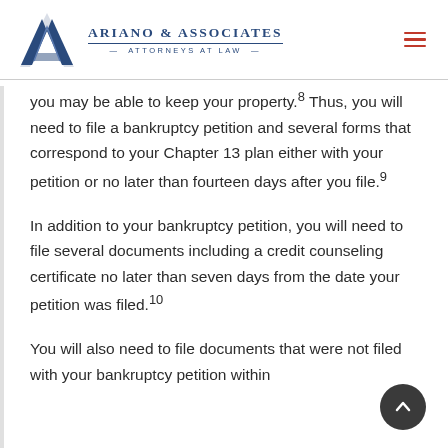Ariano & Associates — Attorneys at Law
you may be able to keep your property.8 Thus, you will need to file a bankruptcy petition and several forms that correspond to your Chapter 13 plan either with your petition or no later than fourteen days after you file.9
In addition to your bankruptcy petition, you will need to file several documents including a credit counseling certificate no later than seven days from the date your petition was filed.10
You will also need to file documents that were not filed with your bankruptcy petition within